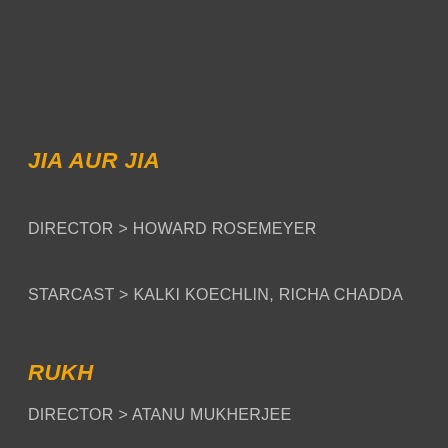JIA AUR JIA
DIRECTOR > HOWARD ROSEMEYER
STARCAST > KALKI KOECHLIN, RICHA CHADDA
RUKH
DIRECTOR > ATANU MUKHERJEE